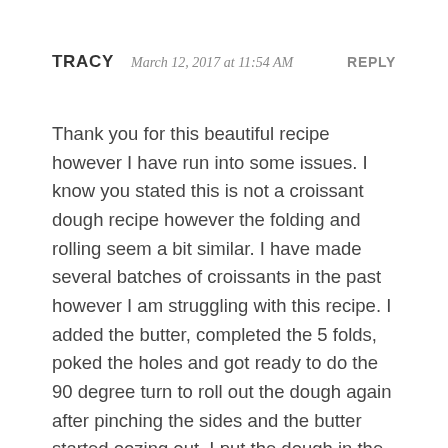TRACY  March 12, 2017 at 11:54 AM  REPLY
Thank you for this beautiful recipe however I have run into some issues. I know you stated this is not a croissant dough recipe however the folding and rolling seem a bit similar. I have made several batches of croissants in the past however I am struggling with this recipe. I added the butter, completed the 5 folds, poked the holes and got ready to do the 90 degree turn to roll out the dough again after pinching the sides and the butter started oozing out. I put the dough in the frig for a little bit to all it to rest and for the butter to become more solid. I also chilled my hands